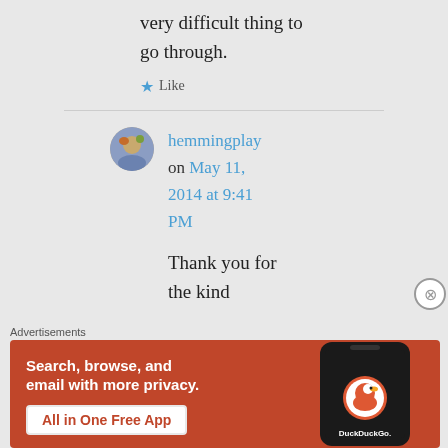very difficult thing to go through.
★ Like
hemmingplay on May 11, 2014 at 9:41 PM
Thank you for the kind
Advertisements
[Figure (other): DuckDuckGo advertisement banner: 'Search, browse, and email with more privacy. All in One Free App' with phone showing DuckDuckGo app icon]